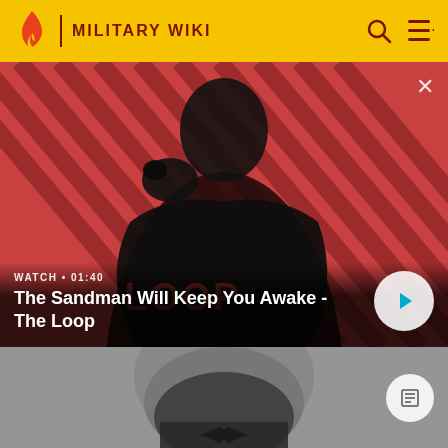MILITARY WIKI
[Figure (screenshot): Video thumbnail showing a dark-clad figure with a raven on a red diagonal-striped background. Label reads WATCH • 01:40. Title: The Sandman Will Keep You Awake - The Loop. Play button on right.]
WATCH • 01:40
The Sandman Will Keep You Awake - The Loop
[Figure (photo): Black and white photograph showing the lower face and torso of a bearded man in 19th century attire, resembling Abraham Lincoln, cropped at mid-face.]